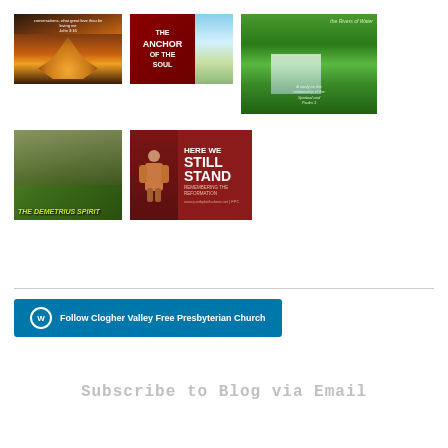[Figure (illustration): Heart shape made with hands against sunset background]
[Figure (illustration): The Anchor of the Soul book cover with ocean background]
[Figure (illustration): The Rivers of Water book cover with waterfall photo, green foliage]
[Figure (illustration): The Demetrius Spirit book cover, hands image with yellow-green text on dark background]
[Figure (illustration): Here We Still Stand - Remembering the Reformation, dark red background with figure of reformer, www.justbyfaithalone.net | FPC]
Follow Clogher Valley Free Presbyterian Church
Subscribe to Blog via Email